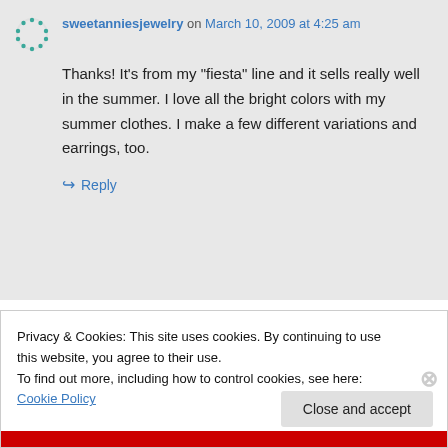sweetanniesjewelry on March 10, 2009 at 4:25 am
Thanks! It’s from my “fiesta” line and it sells really well in the summer. I love all the bright colors with my summer clothes. I make a few different variations and earrings, too.
↪ Reply
Privacy & Cookies: This site uses cookies. By continuing to use this website, you agree to their use.
To find out more, including how to control cookies, see here: Cookie Policy
Close and accept